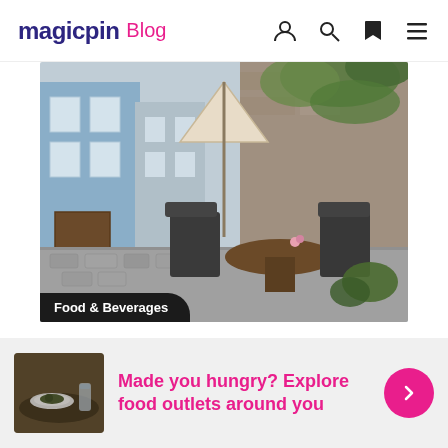magicpin Blog
[Figure (photo): Outdoor cafe terrace with chairs and tables, closed umbrella, cobblestone street, European-style buildings in background with ivy-covered stone wall]
Food & Beverages
The Ultimate Guide to the Best Cafes in Delhi-NCR
[Figure (photo): Food plate thumbnail image for the bottom promotional banner]
Made you hungry? Explore food outlets around you